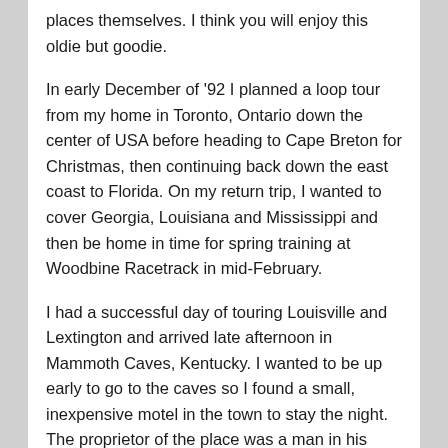places themselves. I think you will enjoy this oldie but goodie.
In early December of '92 I planned a loop tour from my home in Toronto, Ontario down the center of USA before heading to Cape Breton for Christmas, then continuing back down the east coast to Florida. On my return trip, I wanted to cover Georgia, Louisiana and Mississippi and then be home in time for spring training at Woodbine Racetrack in mid-February.
I had a successful day of touring Louisville and Lextington and arrived late afternoon in Mammoth Caves, Kentucky. I wanted to be up early to go to the caves so I found a small, inexpensive motel in the town to stay the night. The proprietor of the place was a man in his sixties, he had no legs and was in a wheelchair. As I stood in the doorway of